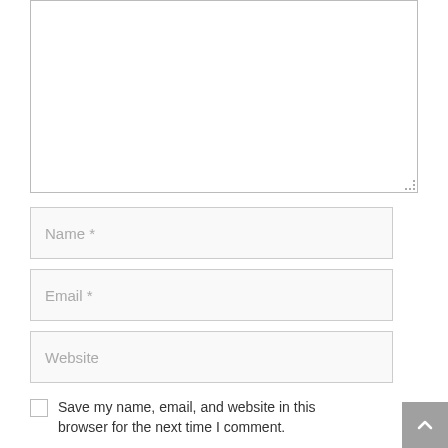[Figure (screenshot): Empty textarea input field with resize handle at bottom-right corner]
Name *
Email *
Website
Save my name, email, and website in this browser for the next time I comment.